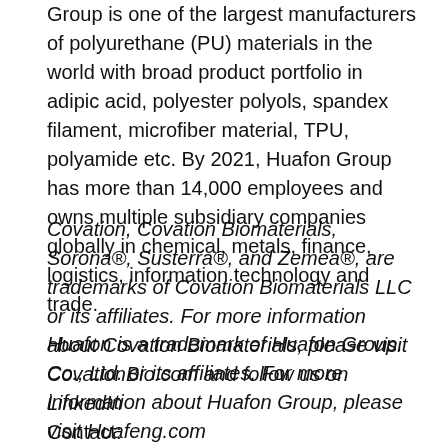Group is one of the largest manufacturers of polyurethane (PU) materials in the world with broad product portfolio in adipic acid, polyester polyols, spandex filament, microfiber material, TPU, polyamide etc. By 2021, Huafon Group has more than 14,000 employees and owns multiple subsidiary companies globally in chemical, metals, finance, logistics, information technology and trade.
Covation, Covation Biomaterials, Sorona®, Susterra®, and Zemea®, are trademarks of Covation Biomaterials LLC or its affiliates. For more information about Covation Biomaterials, please visit CovationBio.com and follow us on LinkedIn
Huafon is a trademark of Huafon Group. Co., Ltd. or its affiliates. For more information about Huafon Group, please visit Huafeng.com
Contact: